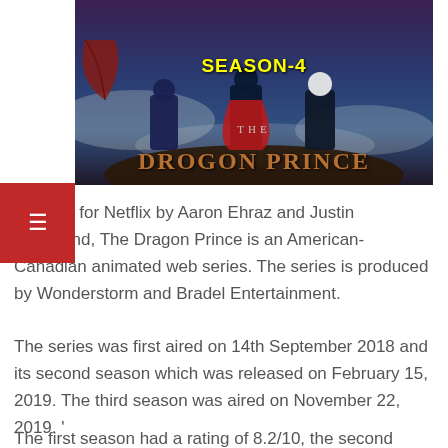[Figure (illustration): The Dragon Prince Season 4 promotional artwork showing animated characters standing together against a fantasy sky background, with 'SEASON-4' in yellow text, 'THE' in silver, and 'DRAGON PRINCE' in orange/gold decorative lettering]
Created for Netflix by Aaron Ehraz and Justin Richmond, The Dragon Prince is an American-Canadian animated web series. The series is produced by Wonderstorm and Bradel Entertainment.
The series was first aired on 14th September 2018 and its second season which was released on February 15, 2019. The third season was aired on November 22, 2019. '
The first season had a rating of 8.2/10, the second